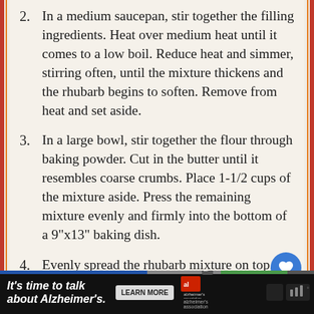2. In a medium saucepan, stir together the filling ingredients. Heat over medium heat until it comes to a low boil. Reduce heat and simmer, stirring often, until the mixture thickens and the rhubarb begins to soften. Remove from heat and set aside.
3. In a large bowl, stir together the flour through baking powder. Cut in the butter until it resembles coarse crumbs. Place 1-1/2 cups of the mixture aside. Press the remaining mixture evenly and firmly into the bottom of a 9"x13" baking dish.
4. Evenly spread the rhubarb mixture on top. Then sprinkle the reserved crust mixture on
[Figure (other): Advertisement banner: It's time to talk about Alzheimer's. with LEARN MORE button and Alzheimer's Association logo]